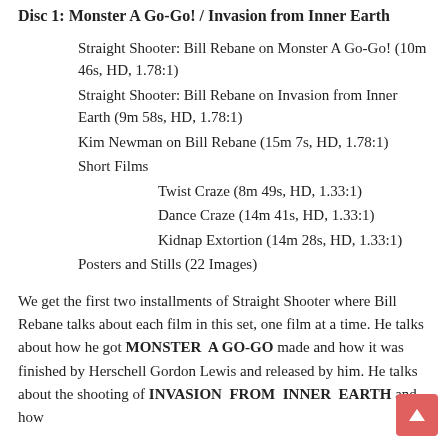Disc 1: Monster A Go-Go! / Invasion from Inner Earth
Straight Shooter: Bill Rebane on Monster A Go-Go! (10m 46s, HD, 1.78:1)
Straight Shooter: Bill Rebane on Invasion from Inner Earth (9m 58s, HD, 1.78:1)
Kim Newman on Bill Rebane (15m 7s, HD, 1.78:1)
Short Films
Twist Craze (8m 49s, HD, 1.33:1)
Dance Craze (14m 41s, HD, 1.33:1)
Kidnap Extortion (14m 28s, HD, 1.33:1)
Posters and Stills (22 Images)
We get the first two installments of Straight Shooter where Bill Rebane talks about each film in this set, one film at a time. He talks about how he got MONSTER A GO-GO made and how it was finished by Herschell Gordon Lewis and released by him. He talks about the shooting of INVASION FROM INNER EARTH and how